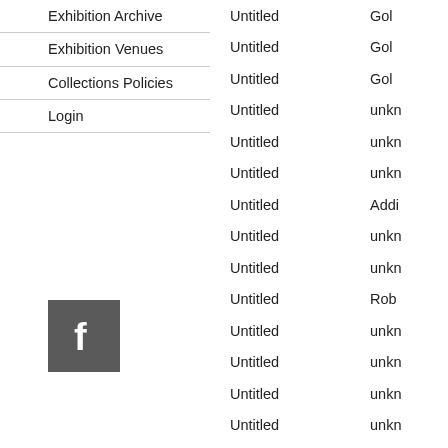Exhibition Archive
Exhibition Venues
Collections Policies
Login
[Figure (logo): Facebook logo icon, grey square with white 'f']
Untitled (x20 entries)
Gold, Gold, Gold, unkn, unkn, unkn, Addi, unkn, unkn, Rob, unkn, unkn, unkn, unkn, unkn, unkn, Sau, Sau, Walk, unkn